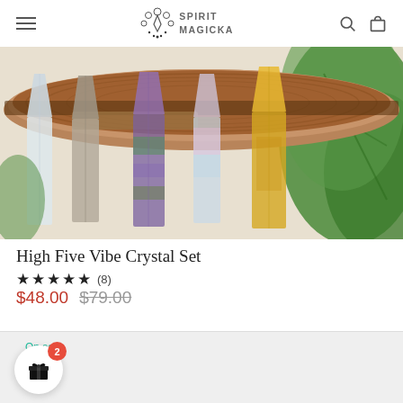Spirit Magicka
[Figure (photo): Crystal point set displayed on a wooden log slice with green tropical leaves in the background. Multiple crystal points visible including clear quartz, fluorite (purple/green), and citrine (yellow), arranged standing upright.]
High Five Vibe Crystal Set
★★★★★ (8)
$48.00  $79.00
On sale